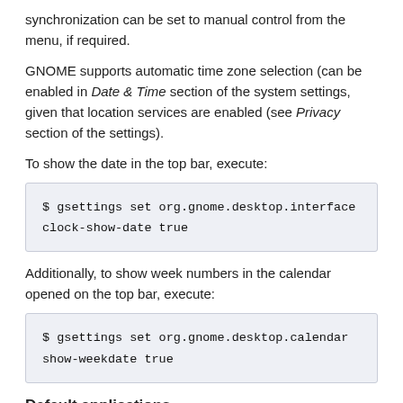synchronization can be set to manual control from the menu, if required.
GNOME supports automatic time zone selection (can be enabled in Date & Time section of the system settings, given that location services are enabled (see Privacy section of the settings).
To show the date in the top bar, execute:
$ gsettings set org.gnome.desktop.interface clock-show-date true
Additionally, to show week numbers in the calendar opened on the top bar, execute:
$ gsettings set org.gnome.desktop.calendar show-weekdate true
Default applications
How installing GNOME for the first time you can configure th...